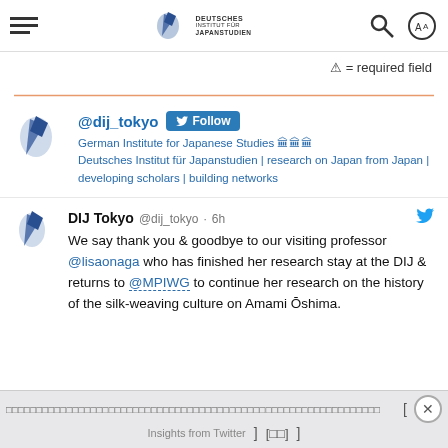Navigation bar with hamburger menu, DIJ logo, search icon, and language icon
⚠ = required field
[Figure (other): Orange horizontal divider line]
@dij_tokyo Follow
German Institute for Japanese Studies 🏛🏛🏛 Deutsches Institut für Japanstudien | research on Japan from Japan | developing scholars | building networks
DIJ Tokyo @dij_tokyo · 6h
We say thank you & goodbye to our visiting professor @lisaonaga who has finished her research stay at the DIJ & returns to @MPIWG to continue her research on the history of the silk-weaving culture on Amami Ōshima.
Insights from Twitter [ ] [ ] [ ]